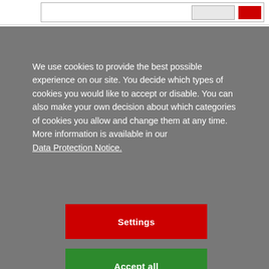[Figure (screenshot): Top navigation bar with input field and red button]
We use cookies to provide the best possible experience on our site. You decide which types of cookies you would like to accept or disable. You can also make your own decision about which categories of cookies you allow and change them at any time. More information is available in our Data Protection Notice.
Settings
Accept all